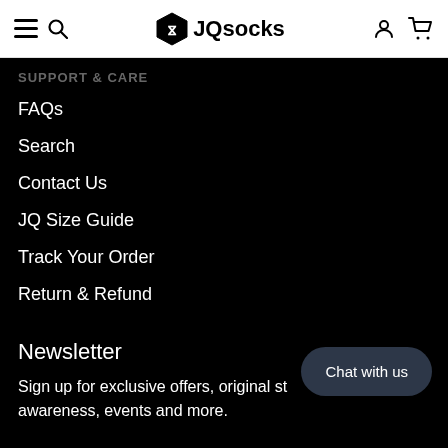JQsocks
SUPPORT & CARE
FAQs
Search
Contact Us
JQ Size Guide
Track Your Order
Return & Refund
Newsletter
Sign up for exclusive offers, original stories, awareness, events and more.